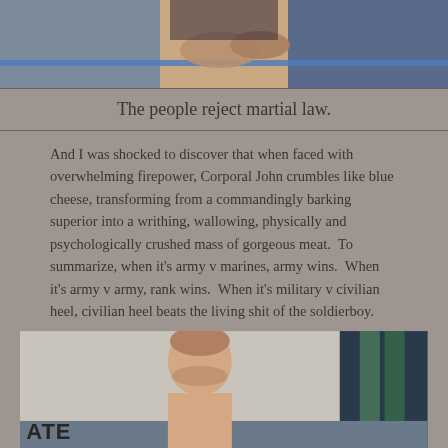[Figure (photo): Top portion of a wrestling or martial arts match showing arms/hands near a blue rope ring]
The people reject martial law.
And I was shocked to discover that when faced with overwhelming firepower, Corporal John crumbles like blue cheese, transforming from a commandingly barking superior into a writhing, wallowing, physically and psychologically crushed mass of gorgeous meat.  To summarize, when it's army v marines, army wins.  When it's army v army, rank wins.  When it's military v civilian heel, civilian heel beats the living shit of the soldierboy.
[Figure (photo): Shirtless male athlete with short hair, head bowed, appearing defeated, with ATE text visible at bottom left corner]